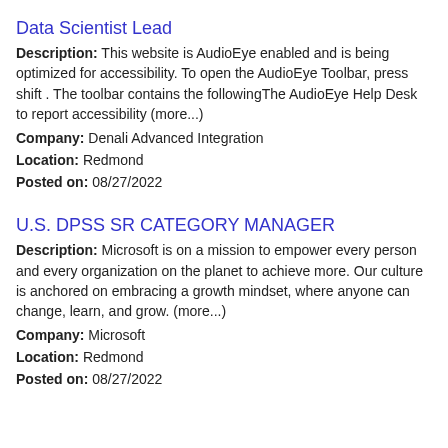Data Scientist Lead
Description: This website is AudioEye enabled and is being optimized for accessibility. To open the AudioEye Toolbar, press shift . The toolbar contains the followingThe AudioEye Help Desk to report accessibility (more...)
Company: Denali Advanced Integration
Location: Redmond
Posted on: 08/27/2022
U.S. DPSS SR CATEGORY MANAGER
Description: Microsoft is on a mission to empower every person and every organization on the planet to achieve more. Our culture is anchored on embracing a growth mindset, where anyone can change, learn, and grow. (more...)
Company: Microsoft
Location: Redmond
Posted on: 08/27/2022